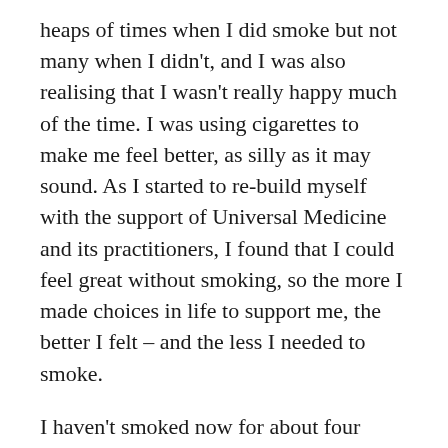heaps of times when I did smoke but not many when I didn't, and I was also realising that I wasn't really happy much of the time. I was using cigarettes to make me feel better, as silly as it may sound. As I started to re-build myself with the support of Universal Medicine and its practitioners, I found that I could feel great without smoking, so the more I made choices in life to support me, the better I felt – and the less I needed to smoke.
I haven't smoked now for about four years and don't crave them at all. Infrequently I like the smell but I know that when this happens, I am not feeling as great as I normally do and understand why. It's great, my health is so much better, I have more money and the most important thing is I look at my problems now – instead of lighting-up,